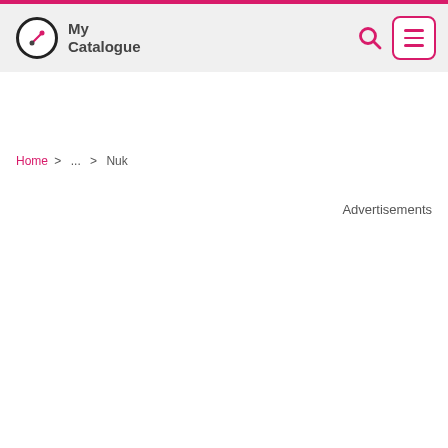My Catalogue
Home > ... > Nuk
Advertisements